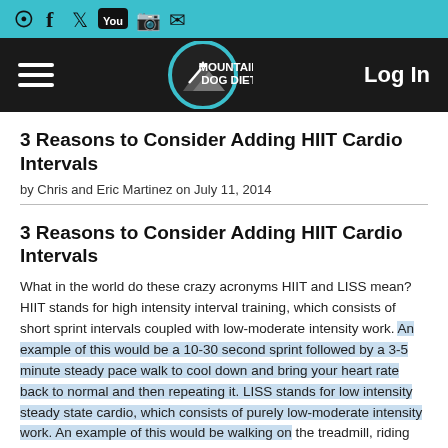Social icons: RSS, Facebook, Twitter, YouTube, Instagram, Email
Mountain Dog Diet | Log In
3 Reasons to Consider Adding HIIT Cardio Intervals
by Chris and Eric Martinez on July 11, 2014
3 Reasons to Consider Adding HIIT Cardio Intervals
What in the world do these crazy acronyms HIIT and LISS mean? HIIT stands for high intensity interval training, which consists of short sprint intervals coupled with low-moderate intensity work. An example of this would be a 10-30 second sprint followed by a 3-5 minute steady pace walk to cool down and bring your heart rate back to normal and then repeating it. LISS stands for low intensity steady state cardio, which consists of purely low-moderate intensity work. An example of this would be walking on the treadmill, riding the bike, and biking outdoors.